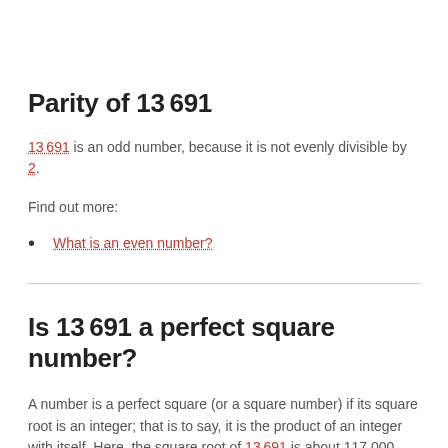Parity of 13 691
13 691 is an odd number, because it is not evenly divisible by 2.
Find out more:
What is an even number?
Is 13 691 a perfect square number?
A number is a perfect square (or a square number) if its square root is an integer; that is to say, it is the product of an integer with itself. Here, the square root of 13 691 is about 117.000...